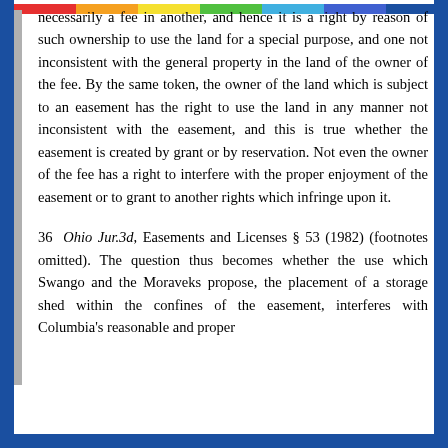necessarily a fee in another, and hence it is a right by reason of such ownership to use the land for a special purpose, and one not inconsistent with the general property in the land of the owner of the fee. By the same token, the owner of the land which is subject to an easement has the right to use the land in any manner not inconsistent with the easement, and this is true whether the easement is created by grant or by reservation. Not even the owner of the fee has a right to interfere with the proper enjoyment of the easement or to grant to another rights which infringe upon it.
36 Ohio Jur.3d, Easements and Licenses § 53 (1982) (footnotes omitted). The question thus becomes whether the use which Swango and the Moraveks propose, the placement of a storage shed within the confines of the easement, interferes with Columbia's reasonable and proper